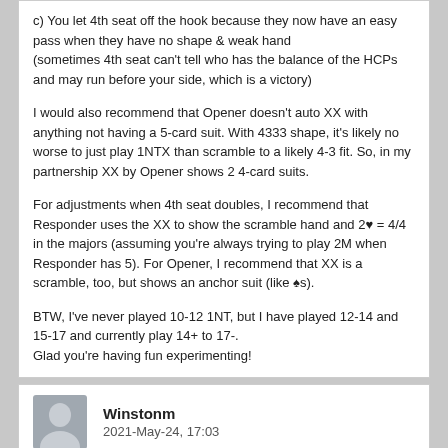c) You let 4th seat off the hook because they now have an easy pass when they have no shape & weak hand (sometimes 4th seat can't tell who has the balance of the HCPs and may run before your side, which is a victory)

I would also recommend that Opener doesn't auto XX with anything not having a 5-card suit. With 4333 shape, it's likely no worse to just play 1NTX than scramble to a likely 4-3 fit. So, in my partnership XX by Opener shows 2 4-card suits.

For adjustments when 4th seat doubles, I recommend that Responder uses the XX to show the scramble hand and 2♥ = 4/4 in the majors (assuming you're always trying to play 2M when Responder has 5). For Opener, I recommend that XX is a scramble, too, but shows an anchor suit (like ♠s).

BTW, I've never played 10-12 1NT, but I have played 12-14 and 15-17 and currently play 14+ to 17-.
Glad you're having fun experimenting!
Winstonm
2021-May-24, 17:03